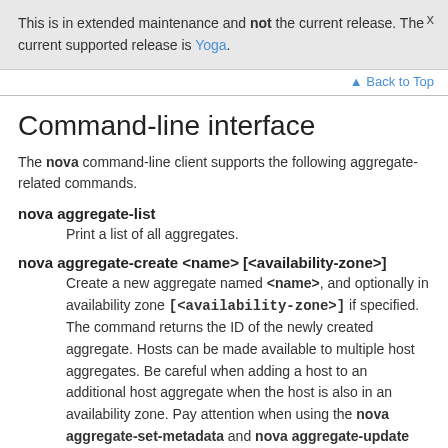This is in extended maintenance and not the current release. The current supported release is Yoga.
Back to Top
Command-line interface
The nova command-line client supports the following aggregate-related commands.
nova aggregate-list
Print a list of all aggregates.
nova aggregate-create <name> [<availability-zone>]
Create a new aggregate named <name>, and optionally in availability zone [<availability-zone>] if specified. The command returns the ID of the newly created aggregate. Hosts can be made available to multiple host aggregates. Be careful when adding a host to an additional host aggregate when the host is also in an availability zone. Pay attention when using the nova aggregate-set-metadata and nova aggregate-update commands to avoid user confusion when they boot instances in different availability zones. An error occurs if you cannot add a particular host to an aggregate zone for which it